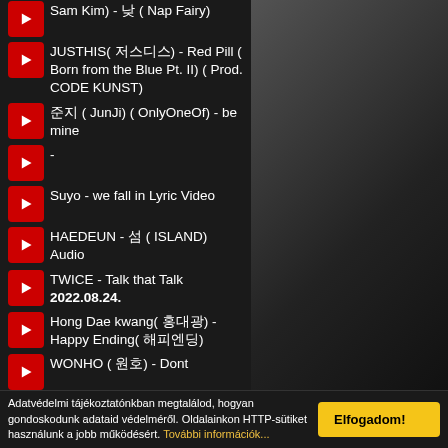Sam Kim) - 낮 ( Nap Fairy)
JUSTHIS( 저스디스) - Red Pill ( Born from the Blue Pt. II) ( Prod. CODE KUNST)
준지 ( JunJi) ( OnlyOneOf) - be mine
-
Suyo - we fall in Lyric Video
HAEDEUN - 섬 ( ISLAND) Audio
TWICE - Talk that Talk 2022.08.24.
Hong Dae kwang( 홍대광) - Happy Ending( 해피엔딩)
WONHO ( 원호) - Dont
Adatvédelmi tájékoztatónkban megtalálod, hogyan gondoskodunk adataid védelméről. Oldalainkon HTTP-sütiket használunk a jobb működésért. További információk...
Elfogadom!